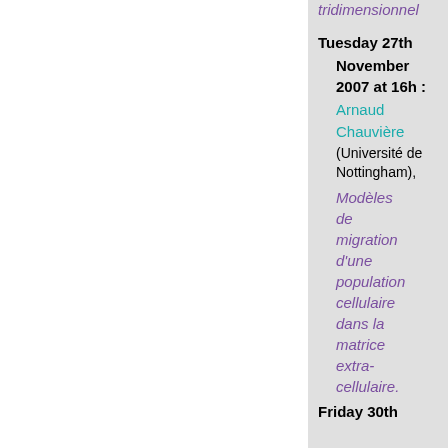tridimensionnel
Tuesday 27th
November
2007 at 16h :
Arnaud Chauvière
(Université de Nottingham),
Modèles de migration d'une population cellulaire dans la matrice extra-cellulaire.
Friday 30th